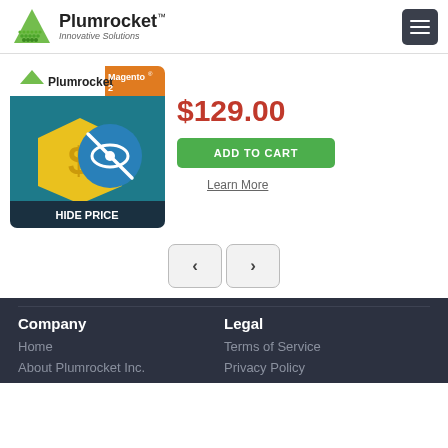[Figure (logo): Plumrocket logo with green triangle/dots icon and text 'Plumrocket Innovative Solutions']
[Figure (screenshot): Plumrocket Hide Price product image for Magento 2 - teal background with yellow price tag and blue eye-slash icon, text HIDE PRICE]
$129.00
ADD TO CART
Learn More
< >
Company
Legal
Home
About Plumrocket Inc.
Terms of Service
Privacy Policy